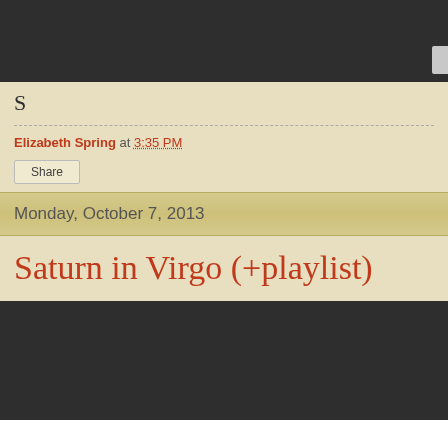[Figure (screenshot): Dark gray browser chrome / header area at top of page]
S
Elizabeth Spring at 3:35 PM
Share
Monday, October 7, 2013
Saturn in Virgo (+playlist)
[Figure (screenshot): Dark gray embedded media player area at bottom of page]